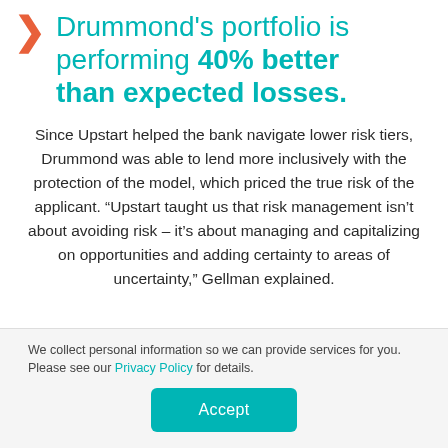Drummond's portfolio is performing 40% better than expected losses.
Since Upstart helped the bank navigate lower risk tiers, Drummond was able to lend more inclusively with the protection of the model, which priced the true risk of the applicant. “Upstart taught us that risk management isn’t about avoiding risk – it’s about managing and capitalizing on opportunities and adding certainty to areas of uncertainty,” Gellman explained.
We collect personal information so we can provide services for you. Please see our Privacy Policy for details.